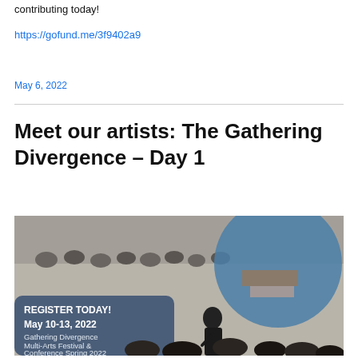contributing today!
https://gofund.me/3f9402a9
May 6, 2022
Meet our artists: The Gathering Divergence – Day 1
[Figure (photo): Event promotional banner for Gathering Divergence Multi-Arts Festival & Conference Spring 2022. Shows text 'REGISTER TODAY! May 10-13, 2022' and 'Gathering Divergence Multi-Arts Festival & Conference Spring 2022' on a dark blue overlay, with a photo of a speaker presenting to an audience in a gallery or conference setting.]